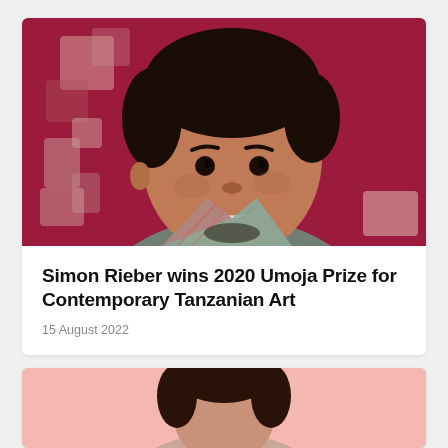[Figure (photo): Portrait photo of a young African man smiling, wearing a plaid shirt, against a dark red/crimson background with decorative geometric square shapes in muted pink/beige tones on the left side.]
Simon Rieber wins 2020 Umoja Prize for Contemporary Tanzanian Art
15 August 2022
[Figure (photo): Partial photo of a person (head visible) against a light pink background — only the top of the image is visible as the card is cut off at the bottom of the page.]